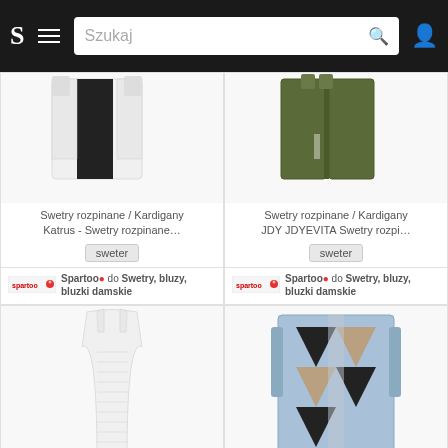[Figure (screenshot): E-commerce website screenshot showing navigation bar with S logo, hamburger menu, search box labeled Szukaj, and user icon on dark background]
[Figure (photo): White and black cardigan/open sweater product photo on white background]
Swetry rozpinane / Kardigany
Katrus - Swetry rozpinane…
sweter
Spartoo• do Swetry, bluzy, bluzki damskie
[Figure (photo): Olive green cardigan/coat product photo on white background]
Swetry rozpinane / Kardigany
JDY JDYEVITA Swetry rozpi…
sweter
Spartoo• do Swetry, bluzy, bluzki damskie
[Figure (photo): White ribbed tank top / bluzka product photo on white background]
Bluzki Betty London KATACEL
Bluzki Betty London KATA….
bluzka
[Figure (photo): Patterned open cardigan with geometric design in blue, black, and beige tones product photo]
Swetry rozpinane / Kardigany
Sisley GOUZIGO Swetry roz…
sweter